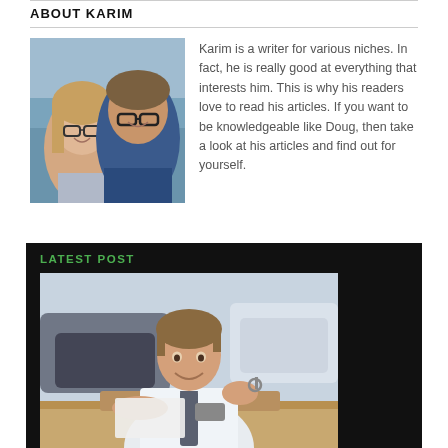ABOUT KARIM
[Figure (photo): Two people posing together for a selfie, a woman and a man both wearing glasses, outdoors near water]
Karim is a writer for various niches. In fact, he is really good at everything that interests him. This is why his readers love to read his articles. If you want to be knowledgeable like Doug, then take a look at his articles and find out for yourself.
LATEST POST
[Figure (photo): A man in a white shirt and tie sitting at a desk in a car dealership, holding car keys and smiling, with cars visible in the background]